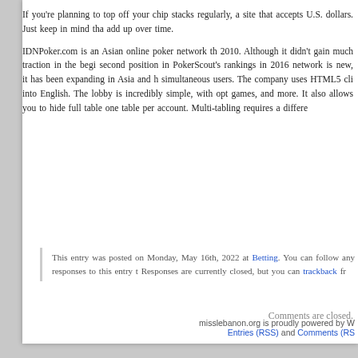If you're planning to top off your chip stacks regularly, a site that accepts U.S. dollars. Just keep in mind that add up over time.
IDNPoker.com is an Asian online poker network th 2010. Although it didn't gain much traction in the begi second position in PokerScout's rankings in 2016 network is new, it has been expanding in Asia and h simultaneous users. The company uses HTML5 cli into English. The lobby is incredibly simple, with opt games, and more. It also allows you to hide full table one table per account. Multi-tabling requires a differe
This entry was posted on Monday, May 16th, 2022 at Betting. You can follow any responses to this entry t Responses are currently closed, but you can trackback fr
Comments are closed.
misslebanon.org is proudly powered by W Entries (RSS) and Comments (RS